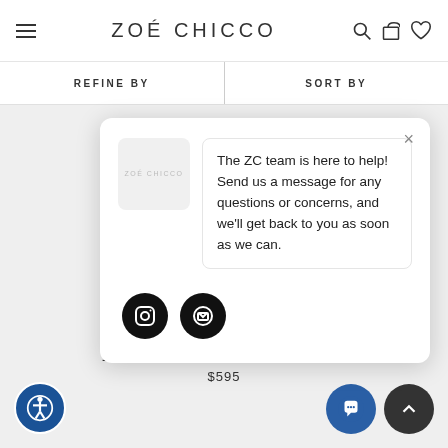[Figure (logo): Zoë Chicco brand logo with hamburger menu icon on left and search, cart, heart icons on right]
REFINE BY
SORT BY
[Figure (screenshot): Chat popup widget with Zoë Chicco logo on left and message: The ZC team is here to help! Send us a message for any questions or concerns, and we'll get back to you as soon as we can. Below are Instagram and email social icons.]
14K GOLD LARGE OPEN HEART RING
$595